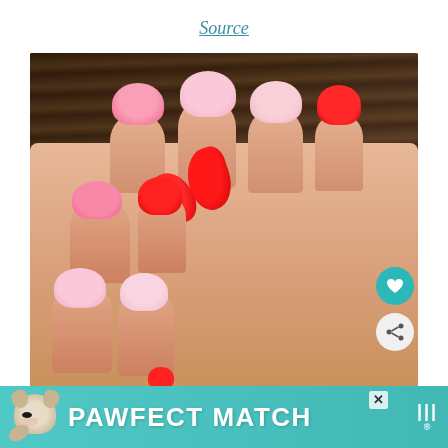Source
[Figure (photo): Close-up photo of a hand with manicured nails featuring pink and red half-moon / French tip nail art design. Some nails have soft pink tips, others have bold red crescent shapes at the base. Bottom of photo shows a teal 'PAWFECT MATCH' advertisement banner with a dog logo.]